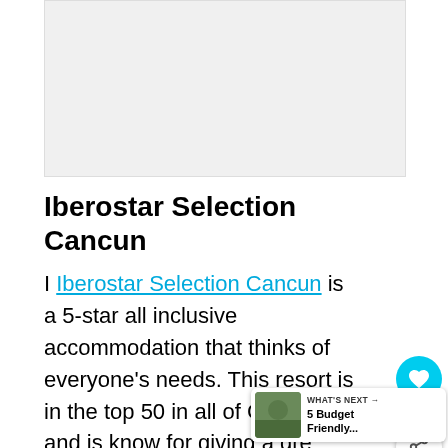[Figure (photo): Hotel or resort image placeholder (light gray box)]
Iberostar Selection Cancun
I Iberostar Selection Cancun is a 5-star all inclusive accommodation that thinks of everyone's needs. This resort is in the top 50 in all of Cancun and is know for giving a great mix of convenience, luxury and value! The crazy amounts of aqua fun (including direct access to the beach) will keep the kids for hours while the 6 restaurants keeps everyone fed like kings and queens.